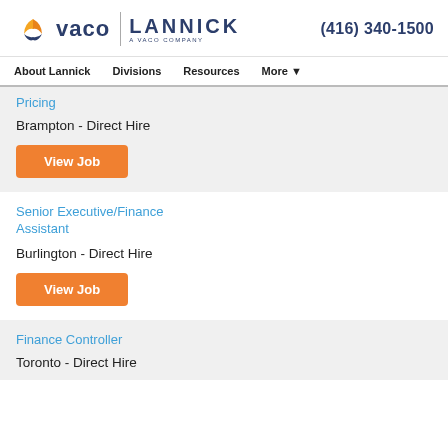vaco | LANNICK A VACO COMPANY | (416) 340-1500
About Lannick | Divisions | Resources | More
Pricing
Brampton - Direct Hire
View Job
Senior Executive/Finance Assistant
Burlington - Direct Hire
View Job
Finance Controller
Toronto - Direct Hire